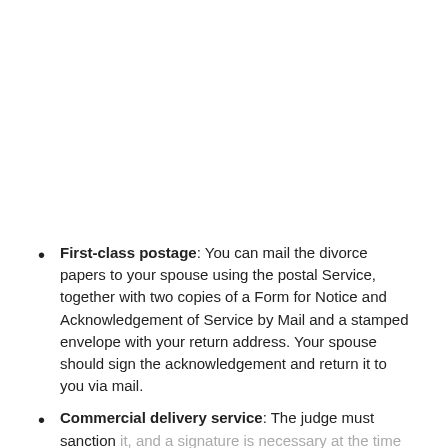First-class postage: You can mail the divorce papers to your spouse using the postal Service, together with two copies of a Form for Notice and Acknowledgement of Service by Mail and a stamped envelope with your return address. Your spouse should sign the acknowledgement and return it to you via mail.
Commercial delivery service: The judge must sanction it, and a signature is necessary at the time of delivery. You should resubmit the divorce petition if the postal carrier or